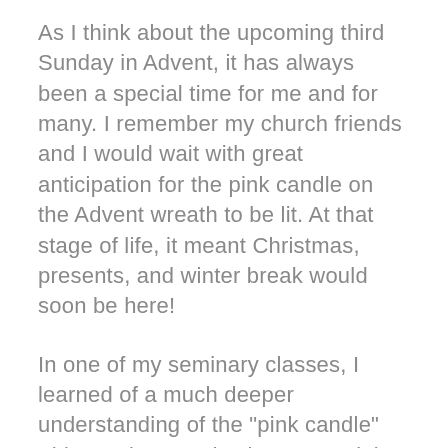As I think about the upcoming third Sunday in Advent, it has always been a special time for me and for many. I remember my church friends and I would wait with great anticipation for the pink candle on the Advent wreath to be lit. At that stage of life, it meant Christmas, presents, and winter break would soon be here!
In one of my seminary classes, I learned of a much deeper understanding of the "pink candle" This coming Sunday has a special name: "Gaudete" Sunday. The traditions surrounding the Third Sunday of Advent go back as far as the 4th or 5th